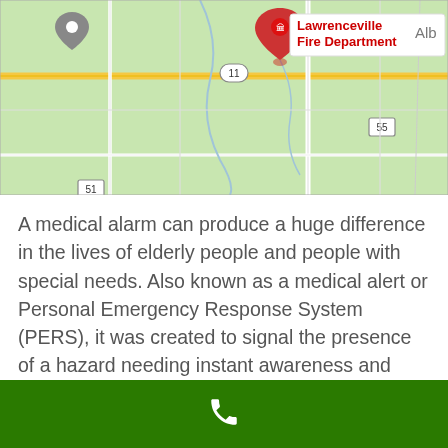[Figure (map): Google Maps view showing Lawrenceville Fire Department marked with a red pin, with road 11, highway 55, and road 51 visible on a light green terrain background. 'Alb' text partially visible at top right.]
A medical alarm can produce a huge difference in the lives of elderly people and people with special needs. Also known as a medical alert or Personal Emergency Response System (PERS), it was created to signal the presence of a hazard needing instant awareness and summon emergency medical workers. Seniors or disabled
Phone icon